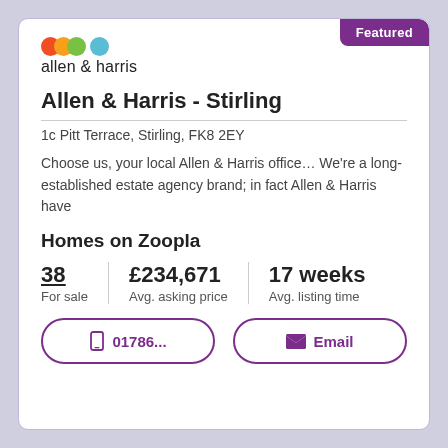[Figure (logo): Allen & Harris logo with colored circles (red, orange, green, blue) and text 'allen & harris']
Allen & Harris - Stirling
1c Pitt Terrace, Stirling, FK8 2EY
Choose us, your local Allen & Harris office… We're a long-established estate agency brand; in fact Allen & Harris have
Homes on Zoopla
38 For sale | £234,671 Avg. asking price | 17 weeks Avg. listing time
📱 01786...   ✉ Email